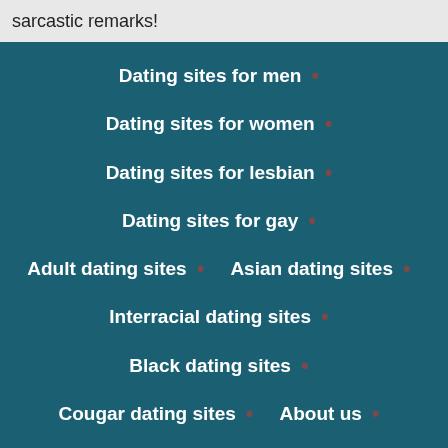sarcastic remarks!
Dating sites for men
Dating sites for women
Dating sites for lesbian
Dating sites for gay
Adult dating sites
Asian dating sites
Interracial dating sites
Black dating sites
Cougar dating sites
About us